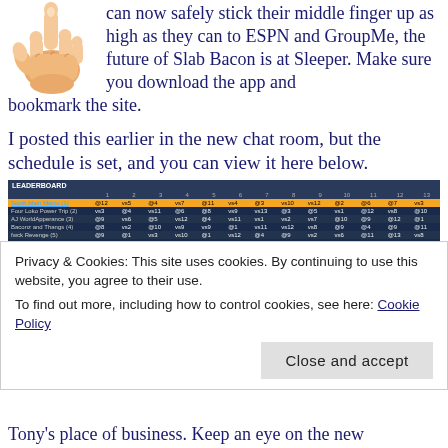[Figure (illustration): Hand fist emoji illustration with raised middle finger, skin tone light]
can now safely stick their middle finger up as high as they can to ESPN and GroupMe, the future of Slab Bacon is at Sleeper. Make sure you download the app and bookmark the site.
I posted this earlier in the new chat room, but the schedule is set, and you can view it here below.
[Figure (screenshot): Screenshot of a fantasy football schedule table showing team matchups across multiple weeks]
Privacy & Cookies: This site uses cookies. By continuing to use this website, you agree to their use.
To find out more, including how to control cookies, see here: Cookie Policy
Tony's place of business. Keep an eye on the new